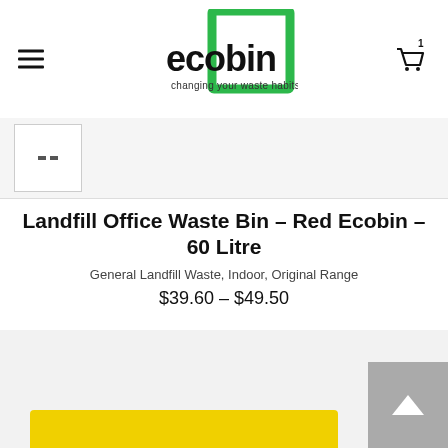[Figure (logo): Ecobin logo — green square outline with 'ecobin' in bold black text and tagline 'changing your waste habits']
[Figure (screenshot): Product thumbnail image placeholder with two dark rectangles]
Landfill Office Waste Bin – Red Ecobin – 60 Litre
General Landfill Waste, Indoor, Original Range
$39.60 – $49.50
[Figure (photo): Partial view of a yellow-lidded waste bin against a light grey background, with a grey scroll-to-top button in the bottom right]